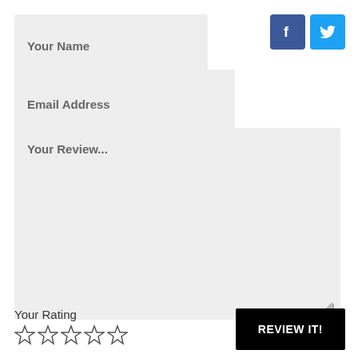Your Name
[Figure (infographic): Facebook and Twitter social share icon buttons]
Email Address
Your Review...
Your Rating
[Figure (other): Five empty star rating icons]
REVIEW IT!